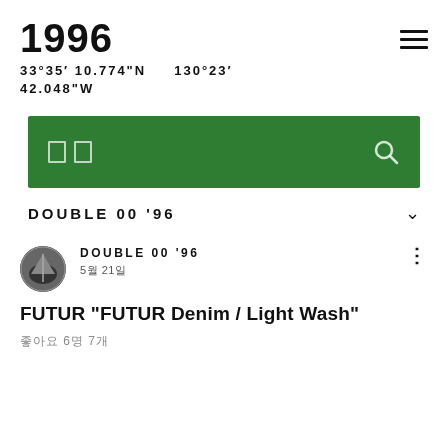1996
33°35′ 10.774"N    130°23′ 42.048"W
[Figure (screenshot): Green search bar with two small rectangle icons on the left and a magnifying glass search icon on the right]
DOUBLE 00 '96
[Figure (photo): Circular avatar photo showing a dark architectural or tent structure silhouette]
DOUBLE 00 '96
5월 21일
FUTUR "FUTUR Denim / Light Wash"
좋아요 6명 7개